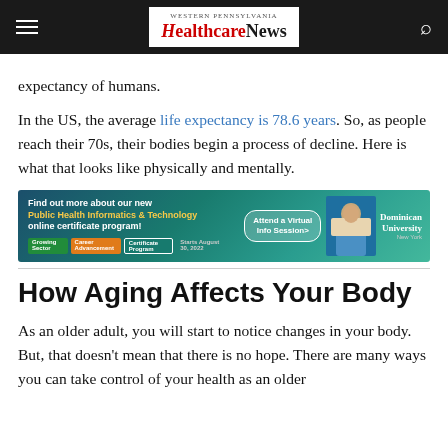Western Pennsylvania HealthcareNews
expectancy of humans.
In the US, the average life expectancy is 78.6 years. So, as people reach their 70s, their bodies begin a process of decline. Here is what that looks like physically and mentally.
[Figure (other): Advertisement banner for Dominican University New York Public Health Informatics & Technology online certificate program. Text reads: Find out more about our new Public Health Informatics & Technology online certificate program! Attend a Virtual Info Session>. Tags: Growing Sector, Career Advancement, Certificate Program, Starts August 30, 2022.]
How Aging Affects Your Body
As an older adult, you will start to notice changes in your body. But, that doesn't mean that there is no hope. There are many ways you can take control of your health as an older